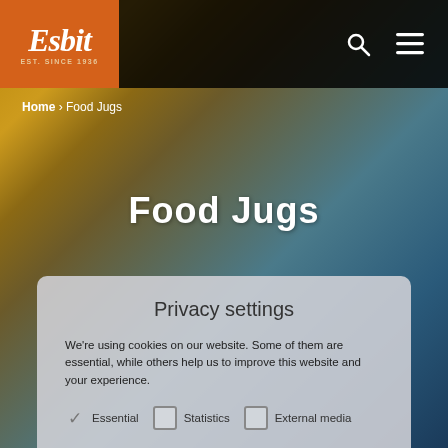[Figure (screenshot): Esbit website header with orange logo box, dark navigation bar with search and menu icons, blurred hero background image of food/cookware in warm amber and blue tones]
Esbit EST. SINCE 1936
Home > Food Jugs
Food Jugs
Privacy settings
We're using cookies on our website. Some of them are essential, while others help us to improve this website and your experience.
Essential   Statistics   External media